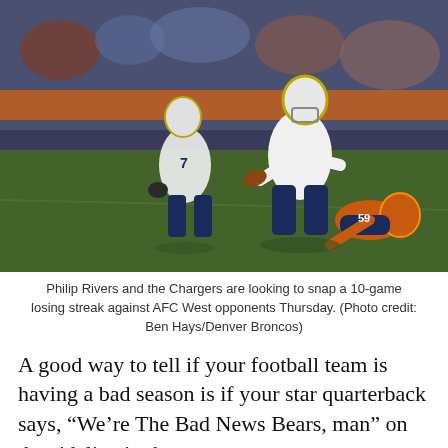[Figure (photo): Philip Rivers and a Chargers teammate in white and navy uniforms run on a football field while a Denver Broncos player in orange uniform falls to the ground. Action shot during an NFL game.]
Philip Rivers and the Chargers are looking to snap a 10-game losing streak against AFC West opponents Thursday. (Photo credit: Ben Hays/Denver Broncos)
A good way to tell if your football team is having a bad season is if your star quarterback says, “We’re The Bad News Bears, man” on the sideline in the